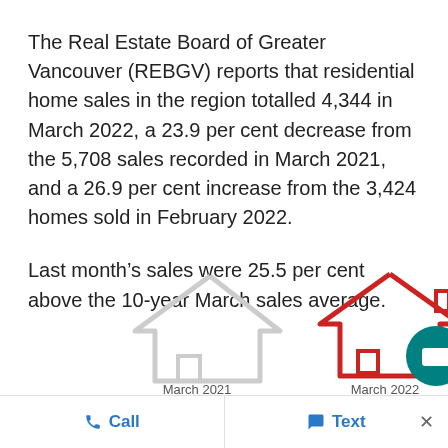The Real Estate Board of Greater Vancouver (REBGV) reports that residential home sales in the region totalled 4,344 in March 2022, a 23.9 per cent decrease from the 5,708 sales recorded in March 2021, and a 26.9 per cent increase from the 3,424 homes sold in February 2022.
Last month's sales were 25.5 per cent above the 10-year March sales average.
[Figure (infographic): Two house outline icons side by side. Left house outline in light grey labeled 'March 2021', right house outline in red labeled 'March 2022'. Partially visible teal circular icon on the far right. Numbers partially cut off at the bottom.]
Call   Text